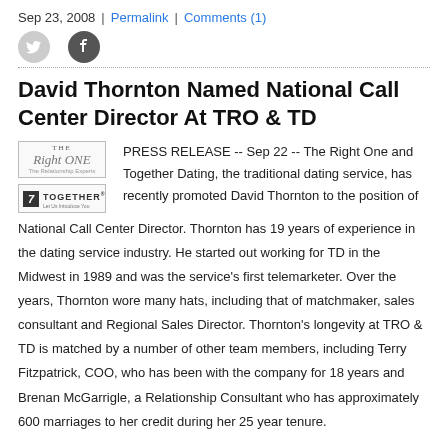Sep 23, 2008 | Permalink | Comments (1)
David Thornton Named National Call Center Director At TRO & TD
PRESS RELEASE -- Sep 22 -- The Right One and Together Dating, the traditional dating service, has recently promoted David Thornton to the position of National Call Center Director. Thornton has 19 years of experience in the dating service industry. He started out working for TD in the Midwest in 1989 and was the service's first telemarketer. Over the years, Thornton wore many hats, including that of matchmaker, sales consultant and Regional Sales Director. Thornton's longevity at TRO & TD is matched by a number of other team members, including Terry Fitzpatrick, COO, who has been with the company for 18 years and Brenan McGarrigle, a Relationship Consultant who has approximately 600 marriages to her credit during her 25 year tenure.